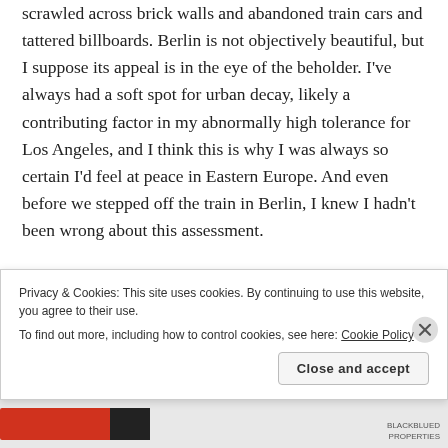scrawled across brick walls and abandoned train cars and tattered billboards. Berlin is not objectively beautiful, but I suppose its appeal is in the eye of the beholder. I've always had a soft spot for urban decay, likely a contributing factor in my abnormally high tolerance for Los Angeles, and I think this is why I was always so certain I'd feel at peace in Eastern Europe. And even before we stepped off the train in Berlin, I knew I hadn't been wrong about this assessment.
Standing where East and West Germany were once divided, following the Berlin Wall for miles, getting lost
Privacy & Cookies: This site uses cookies. By continuing to use this website, you agree to their use.
To find out more, including how to control cookies, see here: Cookie Policy